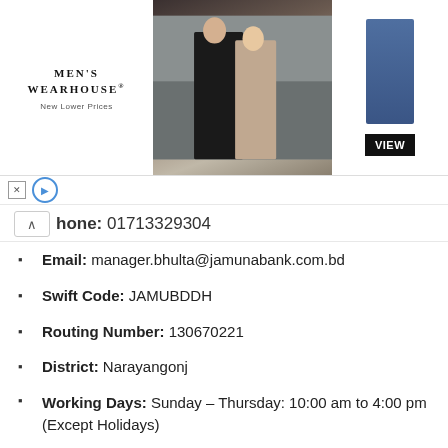[Figure (photo): Men's Wearhouse advertisement banner with a couple in formal wear on the left and a man in a blue suit on the right with a VIEW button]
phone: 01713329304
Email: manager.bhulta@jamunabank.com.bd
Swift Code: JAMUBDDH
Routing Number: 130670221
District: Narayangonj
Working Days: Sunday – Thursday: 10:00 am to 4:00 pm (Except Holidays)
BSCIC Branch
Address: BSCIC Hossiary I/A, Plot no: B-380, Mouza: Horihorpara, Union: EnayetNagar, Thana: Fatullah, Dist: Narayanganj